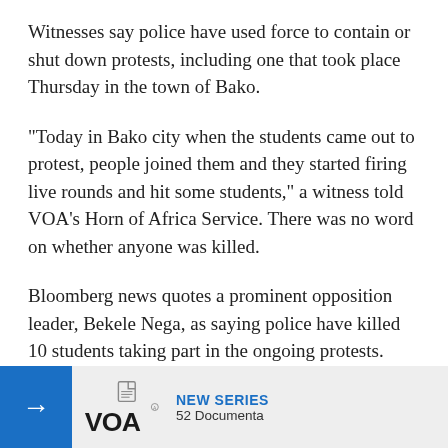Witnesses say police have used force to contain or shut down protests, including one that took place Thursday in the town of Bako.
"Today in Bako city when the students came out to protest, people joined them and they started firing live rounds and hit some students," a witness told VOA's Horn of Africa Service. There was no word on whether anyone was killed.
Bloomberg news quotes a prominent opposition leader, Bekele Nega, as saying police have killed 10 students taking part in the ongoing protests.
Ethiopia's communication minister, Getachew Reda, put the number of deaths lower, but said security forces have been targeted and acted in the face of violence.
[Figure (logo): VOA (Voice of America) logo with NEW SERIES promotional overlay banner at the bottom of the page, showing arrow button, VOA logo, and text '52 Documenta' (truncated)]